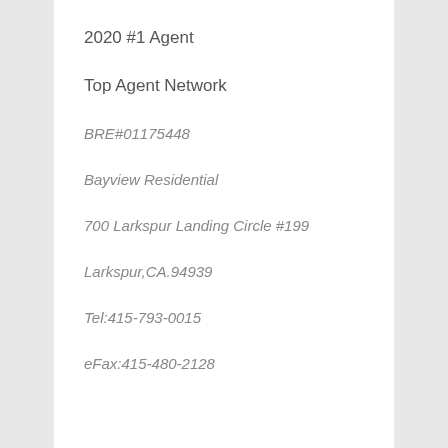2020 #1 Agent
Top Agent Network
BRE#01175448
Bayview Residential
700 Larkspur Landing Circle #199
Larkspur,CA.94939
Tel:415-793-0015
eFax:415-480-2128